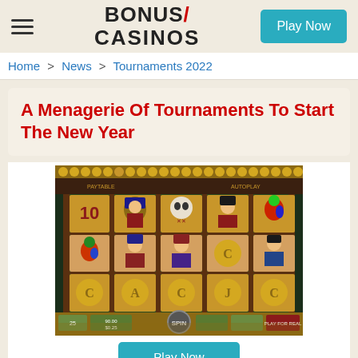BONUS/ CASINOS | Play Now
Home > News > Tournaments 2022
A Menagerie Of Tournaments To Start The New Year
[Figure (screenshot): Screenshot of a pirate-themed slot machine game showing a 5x3 grid of symbols including pirates, skulls, parrots, coins, and playing card letters on a dark wooden background with yellow coin borders.]